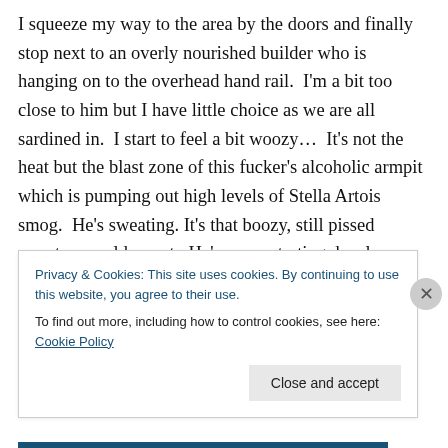I squeeze my way to the area by the doors and finally stop next to an overly nourished builder who is hanging on to the overhead hand rail.  I'm a bit too close to him but I have little choice as we are all sardined in.  I start to feel a bit woozy…  It's not the heat but the blast zone of this fucker's alcoholic armpit which is pumping out high levels of Stella Artois smog.  He's sweating. It's that boozy, still pissed sweat… a cold sweat.  He's concentrating deeply on the floor.  I ease back as I'm not keen on the potential splash back should he unload a digested keg of froth and
Privacy & Cookies: This site uses cookies. By continuing to use this website, you agree to their use.
To find out more, including how to control cookies, see here: Cookie Policy